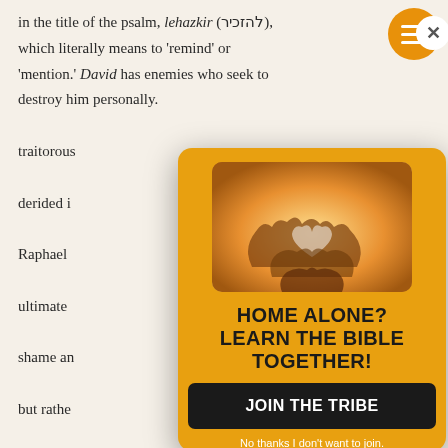in the title of the psalm, lehazkir (להזכיר), which literally means to 'remind' or 'mention.' David has enemies who seek to destroy him personally. They seek his destruction through traitorous means. Raphael ultimate shame and but rather repent. Of humiliation introspection.
[Figure (infographic): Orange circular hamburger menu button with three white horizontal lines]
[Figure (photo): Hands forming heart shapes together against warm sunset light]
HOME ALONE? LEARN THE BIBLE TOGETHER!
JOIN THE TRIBE
No thanks I don't want to join.